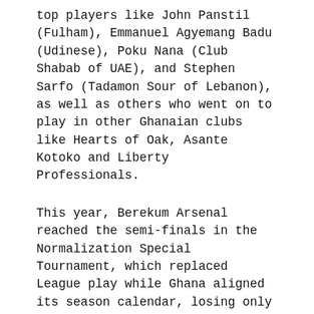top players like John Panstil (Fulham), Emmanuel Agyemang Badu (Udinese), Poku Nana (Club Shabab of UAE), and Stephen Sarfo (Tadamon Sour of Lebanon), as well as others who went on to play in other Ghanaian clubs like Hearts of Oak, Asante Kotoko and Liberty Professionals.
This year, Berekum Arsenal reached the semi-finals in the Normalization Special Tournament, which replaced League play while Ghana aligned its season calendar, losing only to giants Asante Kotoko.
Man of the Match 11 times and with 16 goals in 17 matches, Berekum Arsenal's star striker Ansu Kofi Patrick was the Tournament's top scorer.
This July Berekum Arsenal is hosting...